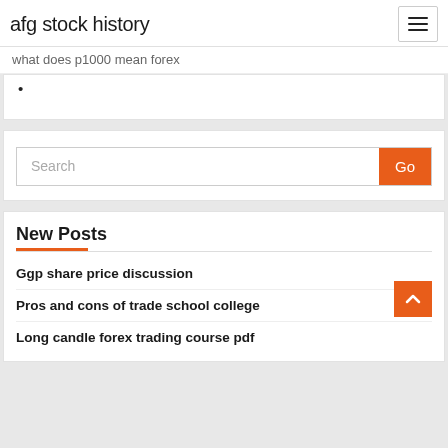afg stock history
what does p1000 mean forex
•
Search
New Posts
Ggp share price discussion
Pros and cons of trade school college
Long candle forex trading course pdf